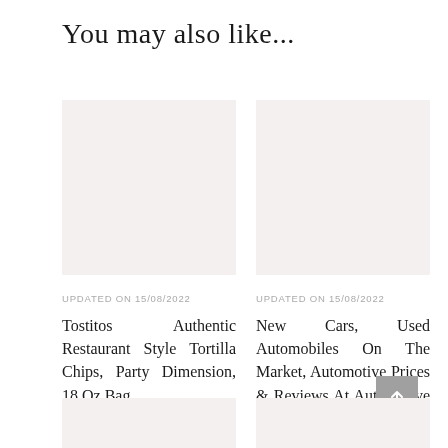You may also like...
[Figure (photo): Blank placeholder image for article card 1]
UPDATED ON 15/08/2022
Tostitos Authentic Restaurant Style Tortilla Chips, Party Dimension, 18 Oz Bag
[Figure (photo): Blank placeholder image for article card 2]
UPDATED ON 15/08/2022
New Cars, Used Automobiles On The Market, Automotive Prices & Reviews At Automotive Com
[Figure (photo): Blank placeholder image for article card 3 (bottom left)]
[Figure (photo): Blank placeholder image for article card 4 (bottom right)]